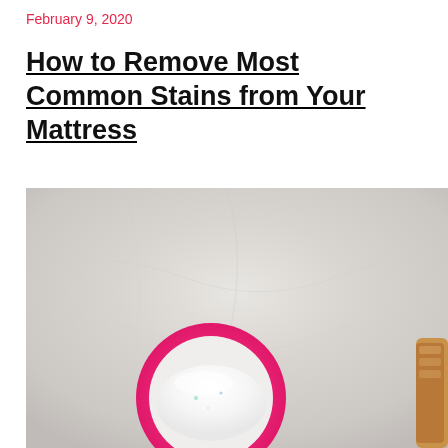February 9, 2020
How to Remove Most Common Stains from Your Mattress
[Figure (photo): Top-down photo of a pink measuring cup or bowl filled with white powder (likely baking soda or laundry powder) on a light-colored fabric surface, with a partial view of another object at the right edge.]